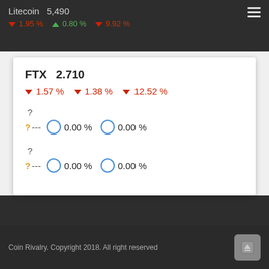Litecoin  5,490
▼ 1.95 %  ▲ 0.80 %  ▼ 9.92 %
FTX  2.710
▼ 1.57 %  ▼ 1.38 %  ▼ 12.52 %
?
? ---  ○ 0.00 %  ○ 0.00 %
?
? ---  ○ 0.00 %  ○ 0.00 %
Coin Rivalry. Copyright 2018. All right reserved